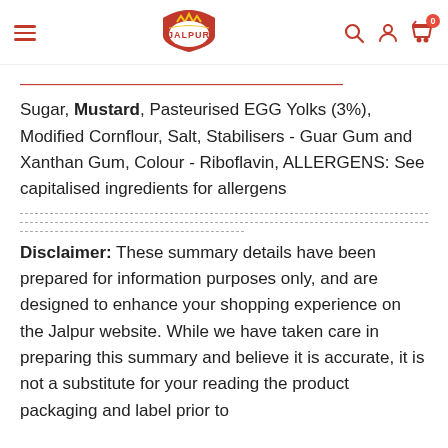Jalpur — navigation header with hamburger menu, logo, search, account, and cart icons
Sugar, Mustard, Pasteurised EGG Yolks (3%), Modified Cornflour, Salt, Stabilisers - Guar Gum and Xanthan Gum, Colour - Riboflavin, ALLERGENS: See capitalised ingredients for allergens
Disclaimer: These summary details have been prepared for information purposes only, and are designed to enhance your shopping experience on the Jalpur website. While we have taken care in preparing this summary and believe it is accurate, it is not a substitute for your reading the product packaging and label prior to